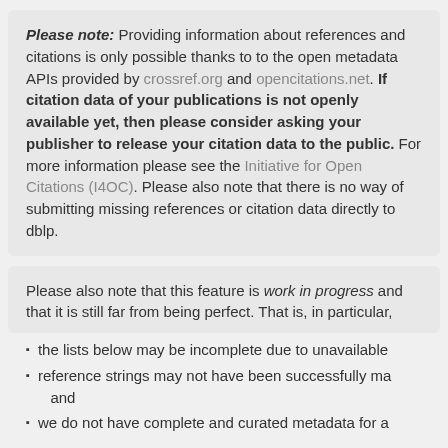Please note: Providing information about references and citations is only possible thanks to to the open metadata APIs provided by crossref.org and opencitations.net. If citation data of your publications is not openly available yet, then please consider asking your publisher to release your citation data to the public. For more information please see the Initiative for Open Citations (I4OC). Please also note that there is no way of submitting missing references or citation data directly to dblp.
Please also note that this feature is work in progress and that it is still far from being perfect. That is, in particular,
the lists below may be incomplete due to unavailable
reference strings may not have been successfully ma and
we do not have complete and curated metadata for a